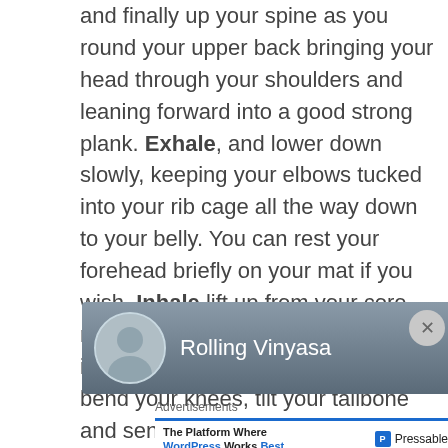and finally up your spine as you round your upper back bringing your head through your shoulders and leaning forward into a good strong plank. Exhale, and lower down slowly, keeping your elbows tucked into your rib cage all the way down to your belly. You can rest your forehead briefly on your mat if you wish. Inhale lift up from your core roll your shoulders back and come into cobra. Exhale tuck your toes, bend your knees, tilt your tailbone and send yourself back into Downward facing dog.
[Figure (other): Rolling Vinyasa channel/author bar with avatar photo and three-dot menu, dark blue-grey gradient background]
Advertisements
[Figure (other): Advertisement banner: 'The Platform Where WordPress Works Best' with Pressable logo on right]